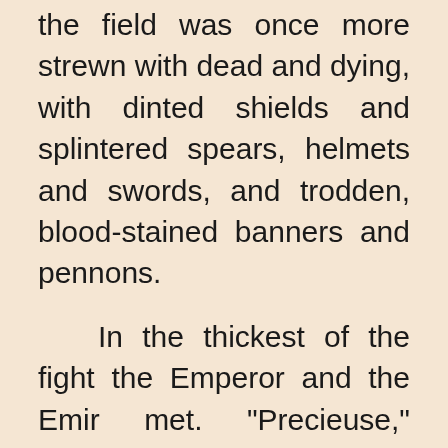the field was once more strewn with dead and dying, with dinted shields and splintered spears, helmets and swords, and trodden, blood-stained banners and pennons.
In the thickest of the fight the Emperor and the Emir met. "Precieuse," cried the Emir. "Montjoie," replied the Emperor. Then a fearful fight took place. Blow upon blow fell, sparks flew.